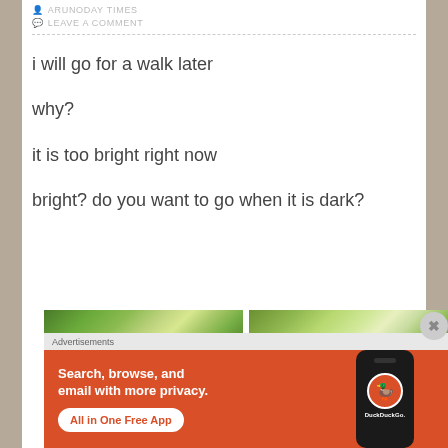ARUNODAY TIMES
LEAVE A COMMENT
i will go for a walk later
why?
it is too bright right now
bright? do you want to go when it is dark?
[Figure (photo): Two partially visible outdoor nature/tree photos side by side]
Advertisements
[Figure (screenshot): DuckDuckGo advertisement banner: Search, browse, and email with more privacy. All in One Free App. Orange background with phone mockup showing DuckDuckGo logo.]